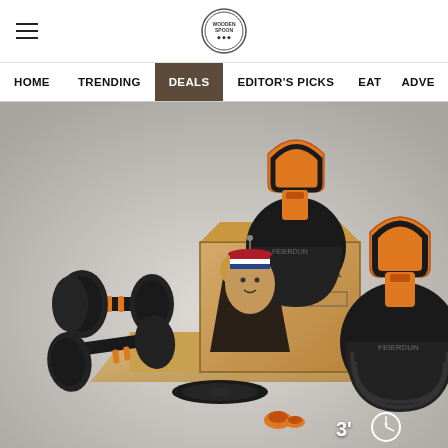Navigation header with hamburger menu and site logo
HOME  TRENDING  DEALS  EDITOR'S PICKS  EAT  ADVE
[Figure (photo): Product photo scene showing fitness equipment: adjustable dumbbells, kettlebells with orange grips, weight plates, cardboard packaging box with kettlebell graphic, and a small cartoon character with a Dutch flag hat. Timer badge showing 3' and clock icon in bottom right corner. Background is light gray gradient.]